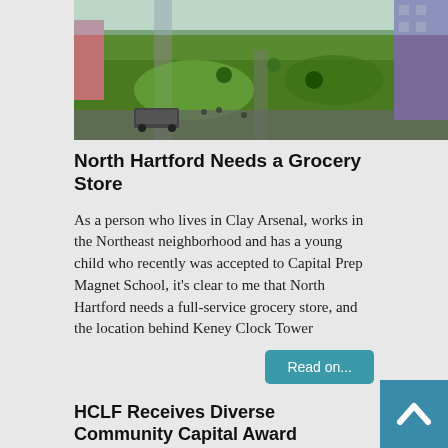[Figure (photo): Aerial rendering of a green plaza/park area with paths, green spaces, a bus, and a purple/dark building on the right edge.]
North Hartford Needs a Grocery Store
As a person who lives in Clay Arsenal, works in the Northeast neighborhood and has a young child who recently was accepted to Capital Prep Magnet School, it’s clear to me that North Hartford needs a full-service grocery store, and the location behind Keney Clock Tower
Read on...
HCLF Receives Diverse Community Capital Award
June 4, 2018 | SAN FRANCISCO--(BUSINESS WIRE)--Wells Fargo & Company (NYSE: WFC) announced that 13 Community Development Financial Institutions (CDFIs) around the U.S. have been selected to receive $12.1 million in lending